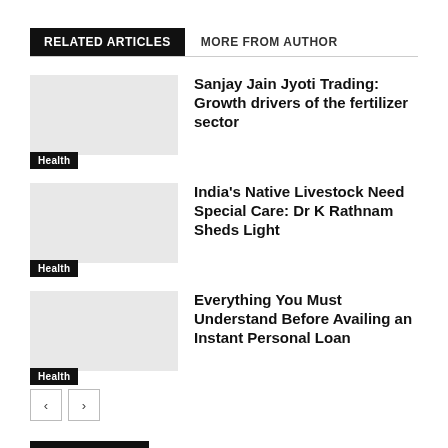RELATED ARTICLES
MORE FROM AUTHOR
Sanjay Jain Jyoti Trading: Growth drivers of the fertilizer sector
Health
India's Native Livestock Need Special Care: Dr K Rathnam Sheds Light
Health
Everything You Must Understand Before Availing an Instant Personal Loan
Health
1 COMMENT